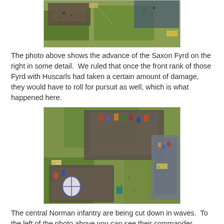[Figure (photo): Aerial view of miniature wargame battlefield showing Saxon Fyrd units advancing on green felt terrain, top portion of image cropped]
The photo above shows the advance of the Saxon Fyrd on the right in some detail.  We ruled that once the front rank of those Fyrd with Huscarls had taken a certain amount of damage, they would have to roll for pursuit as well, which is what happened here.
[Figure (photo): Aerial view of miniature wargame battle showing central Norman infantry being cut down, with commander visible to the left and various unit markers on green felt terrain]
The central Norman infantry are being cut down in waves.  To the left of the photo above you can see their commander joining in.  So also does Duke William with the reserves, to